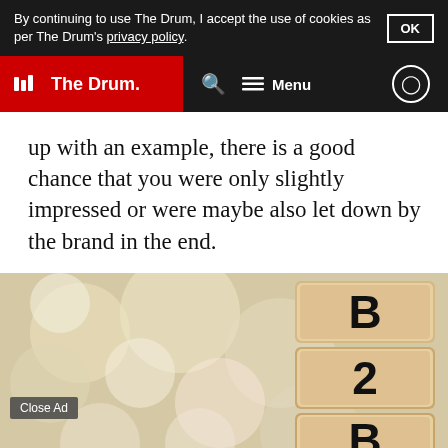By continuing to use The Drum, I accept the use of cookies as per The Drum's privacy policy. OK
The Drum — Search Menu
up with an example, there is a good chance that you were only slightly impressed or were maybe also let down by the brand in the end.
[Figure (photo): Wooden blocks stacked showing letters B, 2, B on a bokeh background]
Close Ad
[Figure (infographic): T-Mobile Advertising Solutions ad: APPS SPEAK LOUDER THAN WORDS]